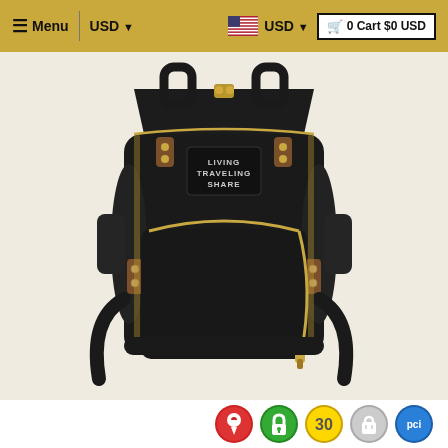≡ Menu | USD ▾  [US Flag] USD ▾  🛒 0 Cart $0 USD
[Figure (photo): Black backpack with gold zippers, two top handles, side straps, and a label reading 'LIVING TRAVELING SHARE'. The bag has brown leather accent pieces at the strap attachment points and a large front zippered pocket with gold zipper.]
[Figure (infographic): Row of five circular trust badge icons: a red map pin icon, a green padlock/security icon, a gold '30' icon, a gray Shopify icon, and a blue PCI shield icon.]